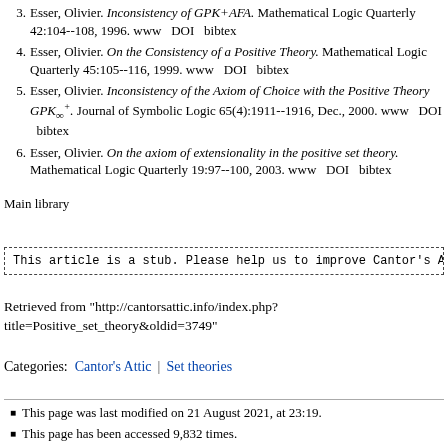3. Esser, Olivier. Inconsistency of GPK+AFA. Mathematical Logic Quarterly 42:104--108, 1996. www   DOI   bibtex
4. Esser, Olivier. On the Consistency of a Positive Theory. Mathematical Logic Quarterly 45:105--116, 1999. www   DOI   bibtex
5. Esser, Olivier. Inconsistency of the Axiom of Choice with the Positive Theory GPK+∞. Journal of Symbolic Logic 65(4):1911--1916, Dec., 2000. www   DOI   bibtex
6. Esser, Olivier. On the axiom of extensionality in the positive set theory. Mathematical Logic Quarterly 19:97--100, 2003. www   DOI   bibtex
Main library
This article is a stub. Please help us to improve Cantor's Attic b
Retrieved from "http://cantorsattic.info/index.php?title=Positive_set_theory&oldid=3749"
Categories:  Cantor's Attic | Set theories
This page was last modified on 21 August 2021, at 23:19.
This page has been accessed 9,832 times.